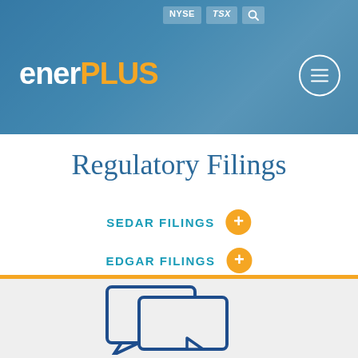[Figure (screenshot): EnerPlus website header banner with blue background showing NYSE and TSX exchange labels, enerPLUS logo in white and gold, and a hamburger menu icon in a circle on the right]
Regulatory Filings
SEDAR FILINGS +
EDGAR FILINGS +
[Figure (illustration): Two overlapping speech/chat bubble icons in navy blue outline style on a light grey background, representing investor relations or contact]